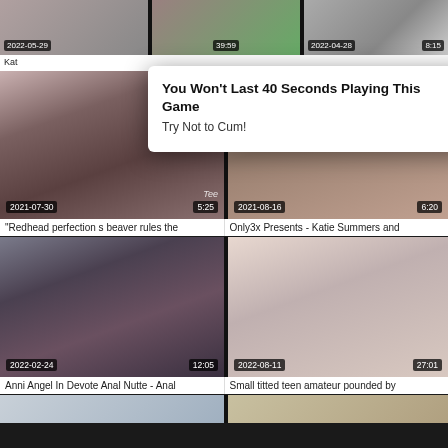[Figure (screenshot): Video thumbnail grid from adult video website showing multiple video thumbnails with dates and durations. Top row shows partial thumbnails with dates 2022-05-29, 39:59, 2022-04-28, 8:15. Middle section shows 'Redhead perfection s beaver rules the' (2021-07-30, 5:25) and 'Only3x Presents - Katie Summers and' (2021-08-16, 6:20). Lower section shows 'Anni Angel In Devote Anal Nutte - Anal' (2022-02-24, 12:05) and 'Small titted teen amateur pounded by' (2022-08-11, 27:01). Partial bottom row visible.]
You Won't Last 40 Seconds Playing This Game
Try Not to Cum!